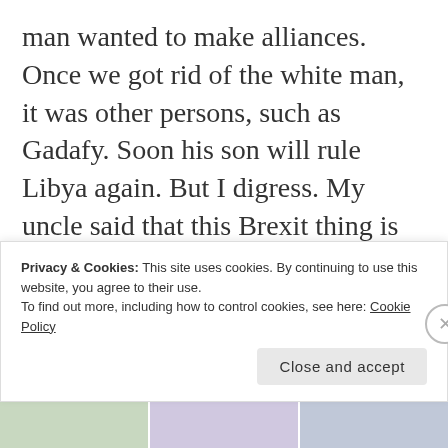man wanted to make alliances. Once we got rid of the white man, it was other persons, such as Gadafy. Soon his son will rule Libya again. But I digress. My uncle said that this Brexit thing is just a manifestation of Little Britain. I told him that this programme was funny, especially the fellow in the wheelchair. He was cross that I did not read history. He said that Britain had always tried to keep away from the Foreigner Jonny. “Splendid Isolation” he called it. I thanked him.
Privacy & Cookies: This site uses cookies. By continuing to use this website, you agree to their use. To find out more, including how to control cookies, see here: Cookie Policy
Close and accept